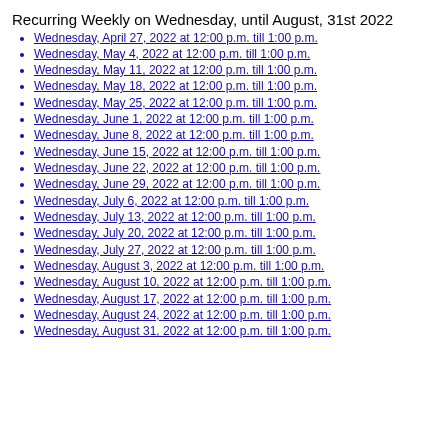Recurring Weekly on Wednesday, until August, 31st 2022
Wednesday, April 27, 2022 at 12:00 p.m. till 1:00 p.m.
Wednesday, May 4, 2022 at 12:00 p.m. till 1:00 p.m.
Wednesday, May 11, 2022 at 12:00 p.m. till 1:00 p.m.
Wednesday, May 18, 2022 at 12:00 p.m. till 1:00 p.m.
Wednesday, May 25, 2022 at 12:00 p.m. till 1:00 p.m.
Wednesday, June 1, 2022 at 12:00 p.m. till 1:00 p.m.
Wednesday, June 8, 2022 at 12:00 p.m. till 1:00 p.m.
Wednesday, June 15, 2022 at 12:00 p.m. till 1:00 p.m.
Wednesday, June 22, 2022 at 12:00 p.m. till 1:00 p.m.
Wednesday, June 29, 2022 at 12:00 p.m. till 1:00 p.m.
Wednesday, July 6, 2022 at 12:00 p.m. till 1:00 p.m.
Wednesday, July 13, 2022 at 12:00 p.m. till 1:00 p.m.
Wednesday, July 20, 2022 at 12:00 p.m. till 1:00 p.m.
Wednesday, July 27, 2022 at 12:00 p.m. till 1:00 p.m.
Wednesday, August 3, 2022 at 12:00 p.m. till 1:00 p.m.
Wednesday, August 10, 2022 at 12:00 p.m. till 1:00 p.m.
Wednesday, August 17, 2022 at 12:00 p.m. till 1:00 p.m.
Wednesday, August 24, 2022 at 12:00 p.m. till 1:00 p.m.
Wednesday, August 31, 2022 at 12:00 p.m. till 1:00 p.m.